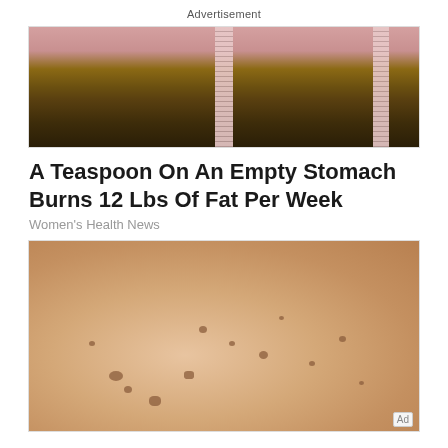Advertisement
[Figure (photo): Photo of a person's midsection wearing jeans with a tape measure wrapped around them]
A Teaspoon On An Empty Stomach Burns 12 Lbs Of Fat Per Week
Women's Health News
[Figure (photo): Close-up photo of a person's arm or leg with skin spots/age spots visible]
Ad